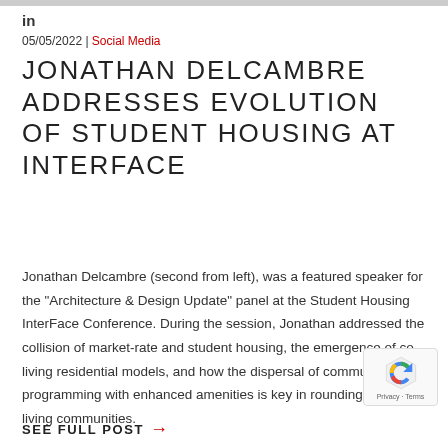[Figure (other): Gray top bar image strip]
in
05/05/2022 | Social Media
JONATHAN DELCAMBRE ADDRESSES EVOLUTION OF STUDENT HOUSING AT INTERFACE
Jonathan Delcambre (second from left), was a featured speaker for the "Architecture & Design Update" panel at the Student Housing InterFace Conference. During the session, Jonathan addressed the collision of market-rate and student housing, the emergence of co-living residential models, and how the dispersal of community programming with enhanced amenities is key in rounding student living communities.
SEE FULL POST →